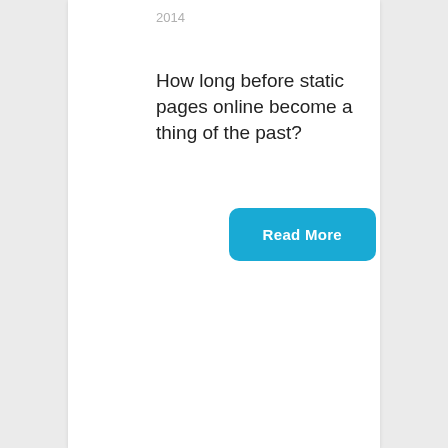2014
How long before static pages online become a thing of the past?
[Figure (other): A cyan/blue rounded rectangle button labeled 'Read More' in bold white text]